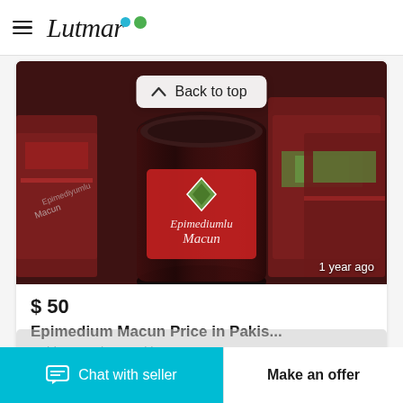Lutmar
[Figure (photo): Dark glass jar of Epimedium Macun product with red label, surrounded by multiple product boxes with red packaging. Timestamp '1 year ago' visible at bottom right.]
$ 50
Epimedium Macun Price in Pakis...
Rahim Yar Khan, Pakistan
Chat with seller
Make an offer